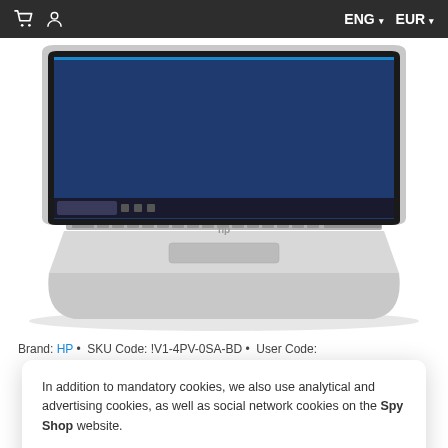ENG ▾  EUR ▾
[Figure (photo): HP laptop computer shown from above at an angle, silver/grey body with keyboard visible and a screen showing a Windows desktop]
Brand: HP · SKU Code: !V1-4PV-0SA-BD · User Code:
In addition to mandatory cookies, we also use analytical and advertising cookies, as well as social network cookies on the Spy Shop website.

If you agree with this, please click on the I ACCEPT button. For a detailed description and in order to set the use of individual cookies, click on the COOKIE SETTINGS link.
I ACCEPT
Cookie Settings